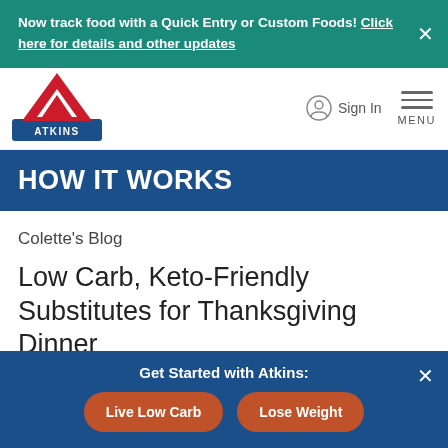Now track food with a Quick Entry or Custom Foods! Click here for details and other updates
[Figure (logo): Atkins logo — red triangular A shape above blue banner reading ATKINS]
Sign In
HOW IT WORKS
Colette's Blog
Low Carb, Keto-Friendly Substitutes for Thanksgiving Dinner
Get Started with Atkins:
Live Low Carb
Lose Weight